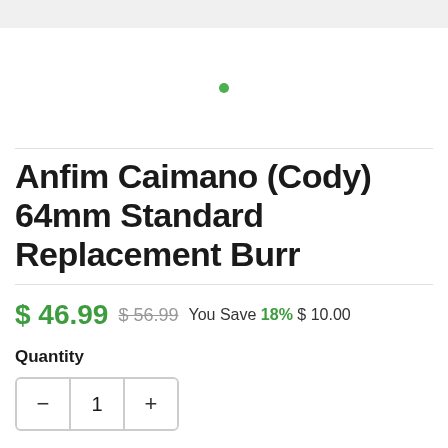[Figure (other): Product image area with a single green dot indicator in the center, white background]
Anfim Caimano (Cody) 64mm Standard Replacement Burr
$ 46.99  $ 56.99  You Save 18% $ 10.00
Quantity
— 1 +